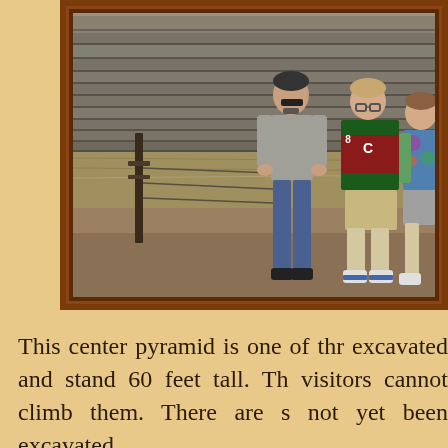[Figure (photo): Three people standing in front of a terraced pyramid structure made of stone, with a wooden fence post visible on the left. The pyramid steps are visible in the background.]
This center pyramid is one of thr excavated and stand 60 feet tall. Th visitors cannot climb them. There are s not yet been excavated.